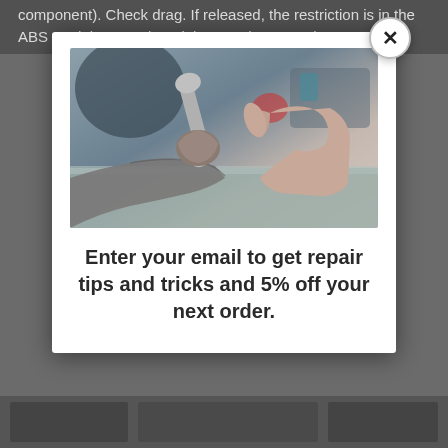component). Check drag. If released, the restriction is in the ABS modulator, and modulator replacement is
[Figure (photo): Photo of a mechanic's gloved hand holding a wrench doing a fist bump or thumbs-up gesture with another bare hand in a garage/workshop setting]
Enter your email to get repair tips and tricks and 5% off your next order.